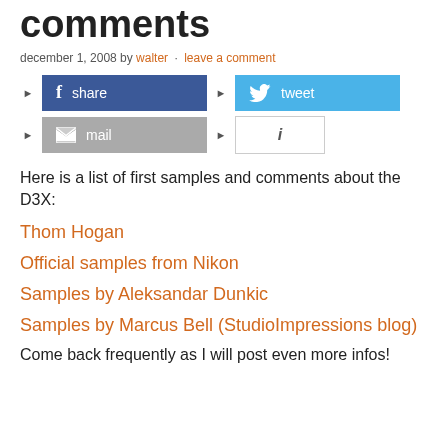comments
december 1, 2008 by walter · leave a comment
[Figure (other): Social sharing buttons: Facebook share, Twitter tweet, Mail, and Info buttons]
Here is a list of first samples and comments about the D3X:
Thom Hogan
Official samples from Nikon
Samples by Aleksandar Dunkic
Samples by Marcus Bell (StudioImpressions blog)
Come back frequently as I will post even more infos!